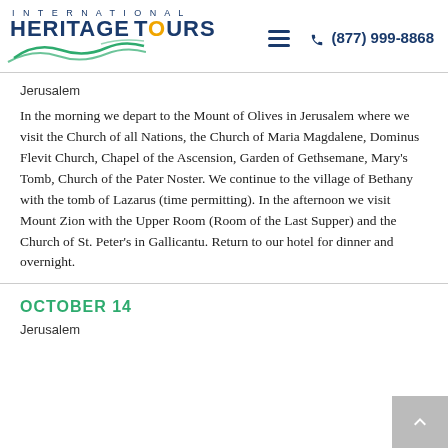INTERNATIONAL HERITAGE TOURS | ☰ | ✆ (877) 999-8868
Jerusalem
In the morning we depart to the Mount of Olives in Jerusalem where we visit the Church of all Nations, the Church of Maria Magdalene, Dominus Flevit Church, Chapel of the Ascension, Garden of Gethsemane, Mary's Tomb, Church of the Pater Noster. We continue to the village of Bethany with the tomb of Lazarus (time permitting). In the afternoon we visit Mount Zion with the Upper Room (Room of the Last Supper) and the Church of St. Peter's in Gallicantu. Return to our hotel for dinner and overnight.
OCTOBER 14
Jerusalem